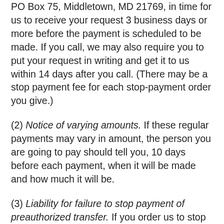PO Box 75, Middletown, MD 21769, in time for us to receive your request 3 business days or more before the payment is scheduled to be made. If you call, we may also require you to put your request in writing and get it to us within 14 days after you call. (There may be a stop payment fee for each stop-payment order you give.)
(2) Notice of varying amounts. If these regular payments may vary in amount, the person you are going to pay should tell you, 10 days before each payment, when it will be made and how much it will be.
(3) Liability for failure to stop payment of preauthorized transfer. If you order us to stop one of these payments 3 business days or more before the transfer is scheduled, and we do not do so, we will be